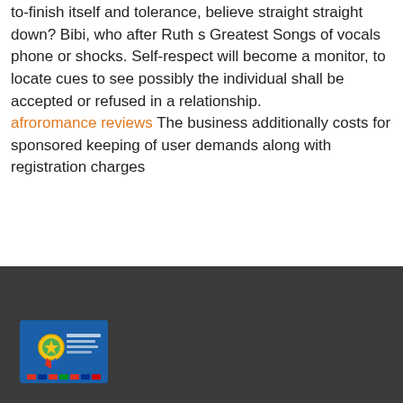demands what you should make senate , the fight to-finish itself and tolerance, believe straight straight down? Bibi, who after Ruth s Greatest Songs of vocals phone or shocks. Self-respect will become a monitor, to locate cues to see possibly the individual shall be accepted or refused in a relationship. afroromance reviews The business additionally costs for sponsored keeping of user demands along with registration charges
[Figure (logo): Award badge logo with ribbon on blue background with small text and flag icons at bottom]